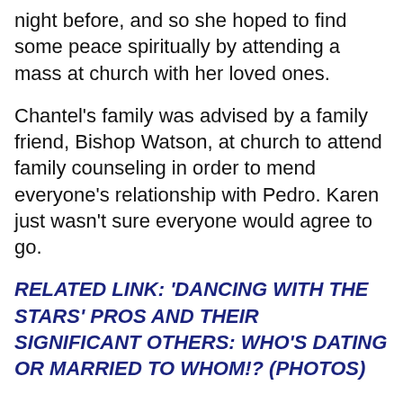night before, and so she hoped to find some peace spiritually by attending a mass at church with her loved ones.
Chantel's family was advised by a family friend, Bishop Watson, at church to attend family counseling in order to mend everyone's relationship with Pedro. Karen just wasn't sure everyone would agree to go.
RELATED LINK: 'DANCING WITH THE STARS' PROS AND THEIR SIGNIFICANT OTHERS: WHO'S DATING OR MARRIED TO WHOM!? (PHOTOS)
And she was right, because River didn't want to participate, and Chantel had a feeling Pedro would never go along with it because he hated being around her family.